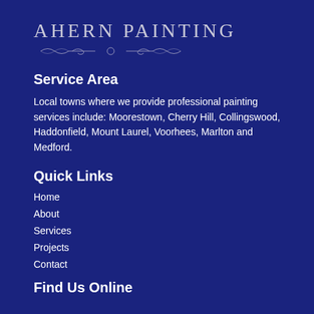[Figure (logo): Ahern Painting logo with ornamental divider line]
Service Area
Local towns where we provide professional painting services include: Moorestown, Cherry Hill, Collingswood, Haddonfield, Mount Laurel, Voorhees, Marlton and Medford.
Quick Links
Home
About
Services
Projects
Contact
Find Us Online